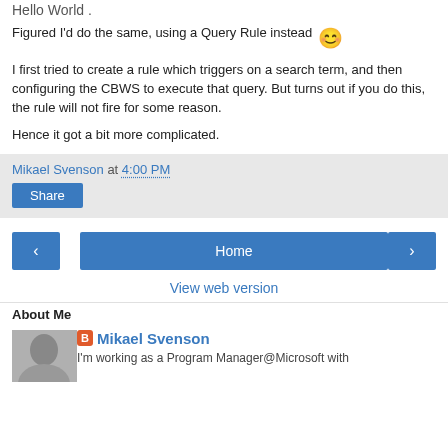Hello World .
Figured I'd do the same, using a Query Rule instead 😊
I first tried to create a rule which triggers on a search term, and then configuring the CBWS to execute that query. But turns out if you do this, the rule will not fire for some reason.
Hence it got a bit more complicated.
Mikael Svenson at 4:00 PM
Share
Home
View web version
About Me
Mikael Svenson
I'm working as a Program Manager@Microsoft with